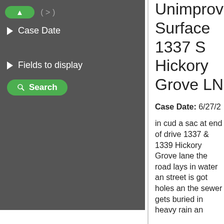[Figure (screenshot): Left panel UI with dark background showing Case Date filter, Fields to display toggle, and a green Search button]
Unimproved Surface
1337 S Hickory Grove LN
Case Date: 6/27/2...
in cud a sac at end of drive 1337 & 1339 Hickory Grove lane the road lays in water an street is got holes an the sewer gets buried in heavy rain an